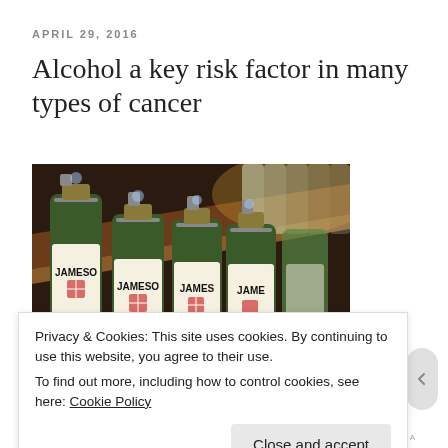APRIL 29, 2016
Alcohol a key risk factor in many types of cancer
[Figure (photo): Photograph of multiple Jameson whiskey bottles lined up on a bar shelf]
Privacy & Cookies: This site uses cookies. By continuing to use this website, you agree to their use.
To find out more, including how to control cookies, see here: Cookie Policy
Close and accept